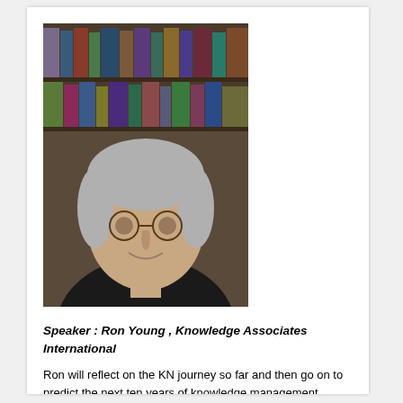[Figure (photo): Portrait photo of Ron Young, an older man with grey hair and round glasses, wearing a dark shirt, seated in front of a bookshelf filled with books.]
Speaker : Ron Young , Knowledge Associates International
Ron will reflect on the KN journey so far and then go on to predict the next ten years of knowledge management.